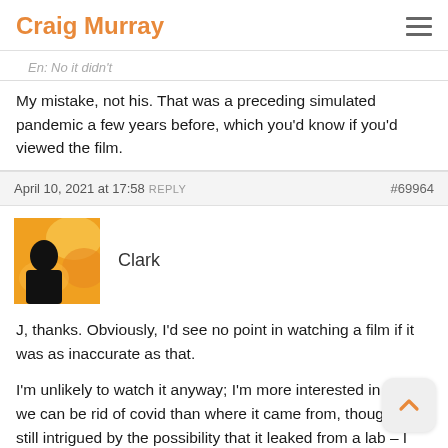Craig Murray
En: No it didn't
My mistake, not his. That was a preceding simulated pandemic a few years before, which you'd know if you'd viewed the film.
April 10, 2021 at 17:58 REPLY  #69964
[Figure (photo): Avatar image of commenter Clark - silhouette figure against orange/yellow background]
Clark
J, thanks. Obviously, I'd see no point in watching a film if it was as inaccurate as that.
I'm unlikely to watch it anyway; I'm more interested in how we can be rid of covid than where it came from, though I'm still intrigued by the possibility that it leaked from a lab – I regard gain-of-function virus research as a major risk, and I'd like to see a comprehensive overhaul of lab security, requiring labs to have